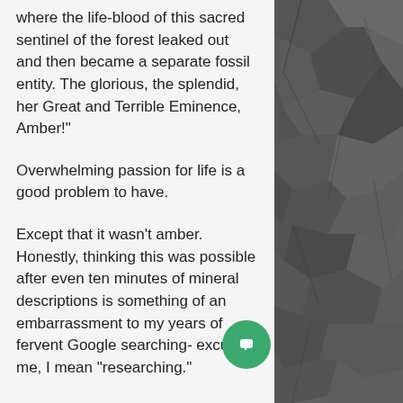where the life-blood of this sacred sentinel of the forest leaked out and then became a separate fossil entity. The glorious, the splendid, her Great and Terrible Eminence, Amber!"
Overwhelming passion for life is a good problem to have.
Except that it wasn't amber. Honestly, thinking this was possible after even ten minutes of mineral descriptions is something of an embarrassment to my years of fervent Google searching- excuse me, I mean "researching."
Two days later, I am left cradling woody delight in the afternoon sun
[Figure (photo): Dark grey textured rock or stone surface, occupying right column of page]